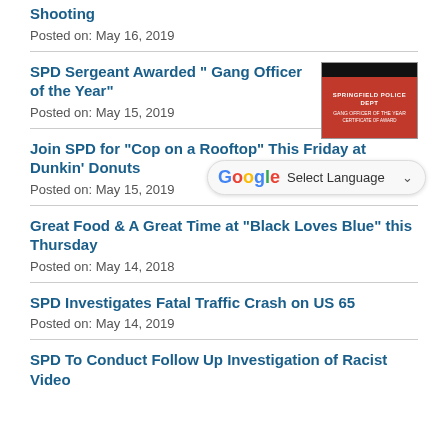Shooting
Posted on: May 16, 2019
SPD Sergeant Awarded “ Gang Officer of the Year”
Posted on: May 15, 2019
Join SPD for "Cop on a Rooftop" This Friday at Dunkin' Donuts
Posted on: May 15, 2019
Great Food & A Great Time at "Black Loves Blue" this Thursday
Posted on: May 14, 2018
SPD Investigates Fatal Traffic Crash on US 65
Posted on: May 14, 2019
SPD To Conduct Follow Up Investigation of Racist Video